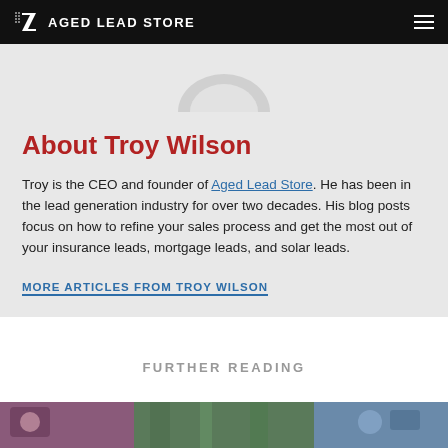AGED LEAD STORE
[Figure (photo): Partial profile/avatar silhouette image in gray tones at top of author bio section]
About Troy Wilson
Troy is the CEO and founder of Aged Lead Store. He has been in the lead generation industry for over two decades. His blog posts focus on how to refine your sales process and get the most out of your insurance leads, mortgage leads, and solar leads.
MORE ARTICLES FROM TROY WILSON
FURTHER READING
[Figure (photo): Partial image strip at bottom showing colorful objects — purple, green plants, and blue tones]